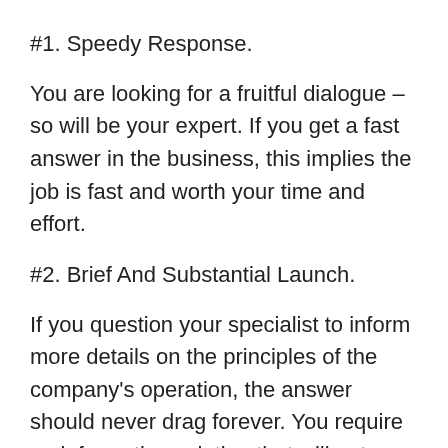#1. Speedy Response.
You are looking for a fruitful dialogue – so will be your expert. If you get a fast answer in the business, this implies the job is fast and worth your time and effort.
#2. Brief And Substantial Launch.
If you question your specialist to inform more details on the principles of the company's operation, the answer should never drag forever. You require an informative solution that will get you a step even closer to figuring